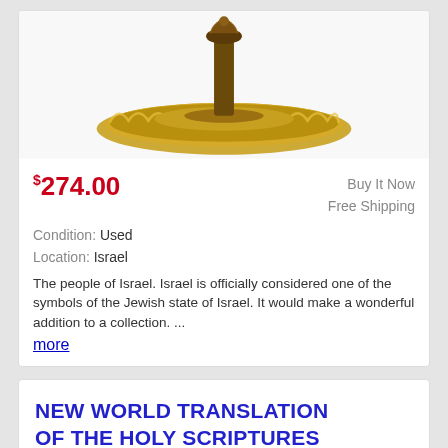[Figure (photo): Close-up of a golden/brass ornate decorative base of an object, partially cropped at top]
$274.00
Buy It Now
Free Shipping
Condition: Used
Location: Israel
The people of Israel. Israel is officially considered one of the symbols of the Jewish state of Israel. It would make a wonderful addition to a collection. ...
more
NEW WORLD TRANSLATION OF THE HOLY SCRIPTURES REVISED 1984
[Figure (photo): Partial photo of a book or object with an oval mirror/window detail visible, light beige/tan cover]